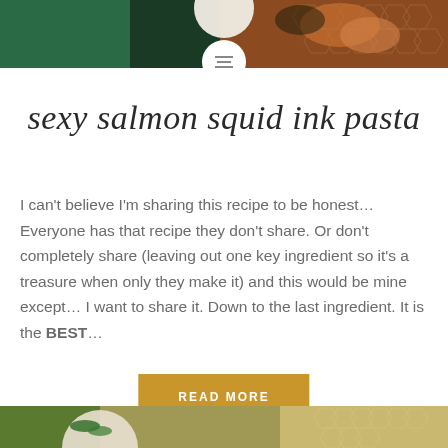[Figure (photo): Top banner photo of a food dish, dark green background with honeycomb pattern, colorful pasta dish visible]
sexy salmon squid ink pasta
I can't believe I'm sharing this recipe to be honest… Everyone has that recipe they don't share. Or don't completely share (leaving out one key ingredient so it's a treasure when only they make it) and this would be mine except… I want to share it. Down to the last ingredient. It is the BEST…
READ MORE
[Figure (photo): Bottom banner photo showing a food dish with green herbs on a decorative plate with honeycomb pattern background]